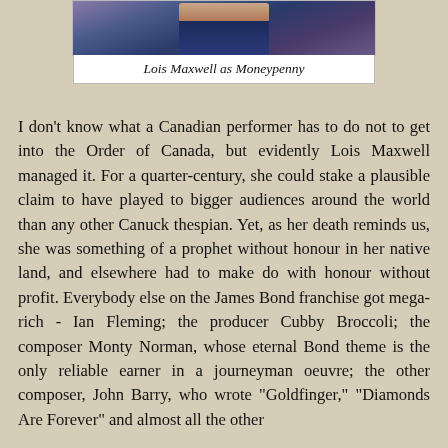[Figure (photo): Photo of Lois Maxwell as Moneypenny, partially cropped at top]
Lois Maxwell as Moneypenny
I don't know what a Canadian performer has to do not to get into the Order of Canada, but evidently Lois Maxwell managed it. For a quarter-century, she could stake a plausible claim to have played to bigger audiences around the world than any other Canuck thespian. Yet, as her death reminds us, she was something of a prophet without honour in her native land, and elsewhere had to make do with honour without profit. Everybody else on the James Bond franchise got mega-rich - Ian Fleming; the producer Cubby Broccoli; the composer Monty Norman, whose eternal Bond theme is the only reliable earner in a journeyman oeuvre; the other composer, John Barry, who wrote "Goldfinger," "Diamonds Are Forever" and almost all the other